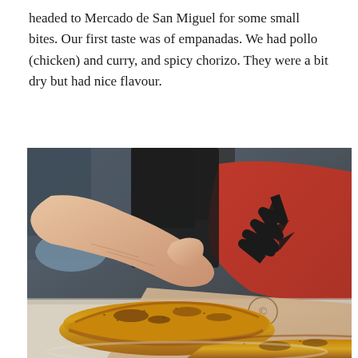headed to Mercado de San Miguel for some small bites. Our first taste was of empanadas. We had pollo (chicken) and curry, and spicy chorizo. They were a bit dry but had nice flavour.
[Figure (photo): Close-up photo of golden-baked empanadas on a paper-lined plate, with a hand holding one empanada. A person in a red shirt with a black flame/star design is visible in the background, along with other people in a crowded indoor market setting.]